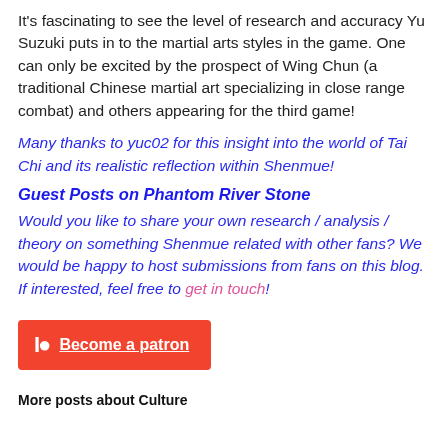It's fascinating to see the level of research and accuracy Yu Suzuki puts in to the martial arts styles in the game. One can only be excited by the prospect of Wing Chun (a traditional Chinese martial art specializing in close range combat) and others appearing for the third game!
Many thanks to yuc02 for this insight into the world of Tai Chi and its realistic reflection within Shenmue!
Guest Posts on Phantom River Stone
Would you like to share your own research / analysis / theory on something Shenmue related with other fans? We would be happy to host submissions from fans on this blog. If interested, feel free to get in touch!
[Figure (other): Patreon button: red button with Patreon logo and text 'Become a patron']
More posts about Culture